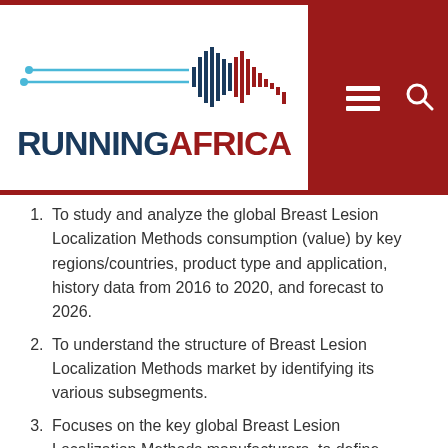RUNNINGAFRICA
To study and analyze the global Breast Lesion Localization Methods consumption (value) by key regions/countries, product type and application, history data from 2016 to 2020, and forecast to 2026.
To understand the structure of Breast Lesion Localization Methods market by identifying its various subsegments.
Focuses on the key global Breast Lesion Localization Methods manufacturers, to define, describe and analyze the value, market share, market competition landscape, Porter’s five forces analysis, SWOT analysis and development plans in next few years.
To analyze the Breast Lesion Localization Methods